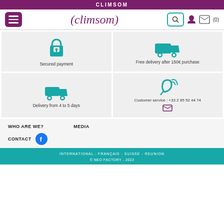CLIMSOM
[Figure (screenshot): Navigation bar with hamburger menu, climsom logo, search icon, user icon, and cart (0)]
[Figure (infographic): Four feature cards: Secured payment (lock icon), Free delivery after 150€ purchase (truck icon), Delivery from 4 to 5 days (truck icon), Customer service: +33 2 85 52 44 74 (ear/phone icon and email icon)]
WHO ARE WE?
MEDIA
CONTACT
INTERNATIONAL : FRANÇAIS - SUISSE - REUNION
© NEO FACTORY - 2022